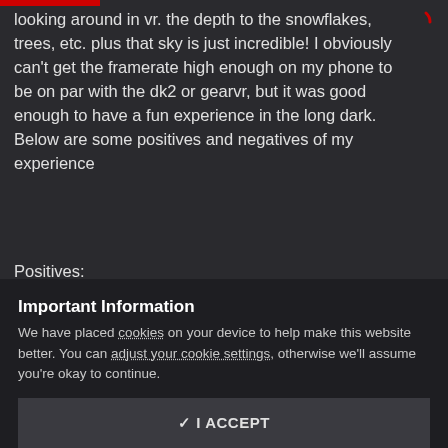looking around in vr. the depth to the snowflakes, trees, etc. plus that sky is just incredible! I obviously can't get the framerate high enough on my phone to be on par with the dk2 or gearvr, but it was good enough to have a fun experience in the long dark. Below are some positives and negatives of my experience
Positives:
The pacing of the game is perfect for VR. The slow pace kept me from feeling any nausea for quite a while. It was very intuitive to simply look at a pack of
Important Information
We have placed cookies on your device to help make this website better. You can adjust your cookie settings, otherwise we'll assume you're okay to continue.
✓ I ACCEPT